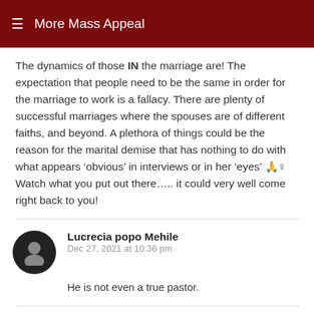More Mass Appeal
The dynamics of those IN the marriage are! The expectation that people need to be the same in order for the marriage to work is a fallacy. There are plenty of successful marriages where the spouses are of different faiths, and beyond. A plethora of things could be the reason for the marital demise that has nothing to do with what appears ‘obvious’ in interviews or in her ‘eyes’ 🙏♀ Watch what you put out there….. it could very well come right back to you!
Lucrecia popo Mehile
Dec 27, 2021 at 10:36 pm

He is not even a true pastor.
Tanya Smith
Dec 27, 2021 at 11:50 pm